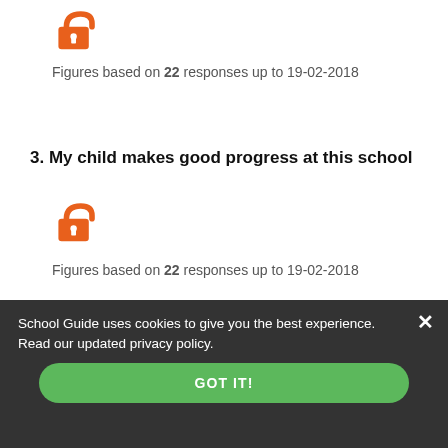[Figure (illustration): Orange unlocked padlock icon]
Figures based on 22 responses up to 19-02-2018
3. My child makes good progress at this school
[Figure (illustration): Orange unlocked padlock icon]
Figures based on 22 responses up to 19-02-2018
School Guide uses cookies to give you the best experience. Read our updated privacy policy.
GOT IT!